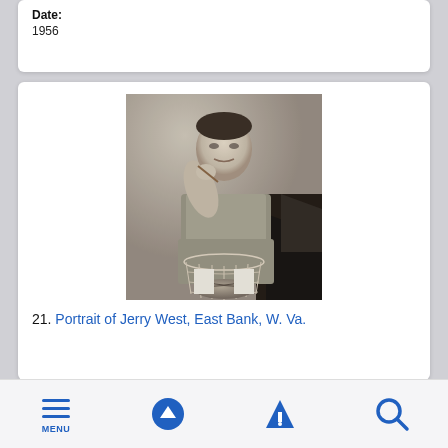Date:
1956
[Figure (photo): Black and white photograph of Jerry West, a basketball player, holding a basketball net and a basketball, posing in his team uniform]
21. Portrait of Jerry West, East Bank, W. Va.
MENU | up arrow | filter | search